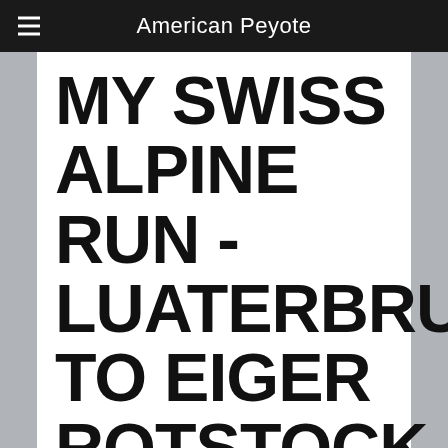American Peyote
MY SWISS ALPINE RUN - LUATERBRUNNEN TO EIGER ROTSTOCK
4 Sep '11   SwissAlpine   Eiger, Mountain, Running, Switzerland